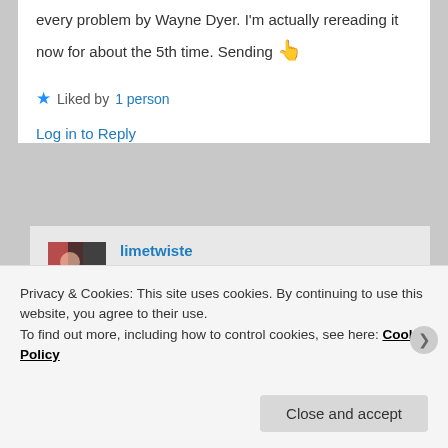every problem by Wayne Dyer. I'm actually rereading it now for about the 5th time. Sending 👆
★ Liked by 1 person
Log in to Reply
limetwiste on April 30, 2020 at 8:34 pm said:
Hi Dwight. Another author I have read in the past. Time to go back and reread Wayne Dyer again too. Thank you. Stay
Privacy & Cookies: This site uses cookies. By continuing to use this website, you agree to their use.
To find out more, including how to control cookies, see here: Cookie Policy
Close and accept